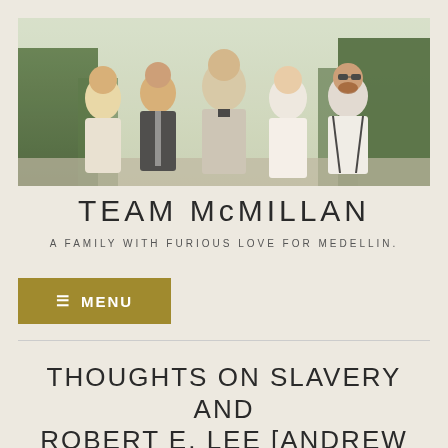[Figure (photo): Group photo of five people (two women, three men) dressed in formal/wedding attire, standing outdoors in front of green hedges. The central couple appears to be a bride and groom.]
TEAM MCMILLAN
A FAMILY WITH FURIOUS LOVE FOR MEDELLIN.
≡ MENU
THOUGHTS ON SLAVERY AND ROBERT E. LEE [ANDREW